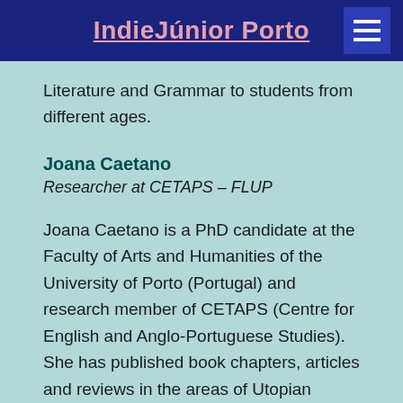IndieJúnior Porto
Literature and Grammar to students from different ages.
Joana Caetano
Researcher at CETAPS – FLUP
Joana Caetano is a PhD candidate at the Faculty of Arts and Humanities of the University of Porto (Portugal) and research member of CETAPS (Centre for English and Anglo-Portuguese Studies). She has published book chapters, articles and reviews in the areas of Utopian Studies, Anglo-American Studies and Food Studies.